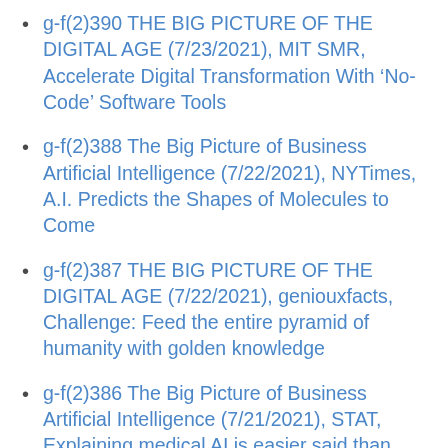g-f(2)390 THE BIG PICTURE OF THE DIGITAL AGE (7/23/2021), MIT SMR, Accelerate Digital Transformation With ‘No-Code’ Software Tools
g-f(2)388 The Big Picture of Business Artificial Intelligence (7/22/2021), NYTimes, A.I. Predicts the Shapes of Molecules to Come
g-f(2)387 THE BIG PICTURE OF THE DIGITAL AGE (7/22/2021), geniouxfacts, Challenge: Feed the entire pyramid of humanity with golden knowledge
g-f(2)386 The Big Picture of Business Artificial Intelligence (7/21/2021), STAT, Explaining medical AI is easier said than done.
g-f(2)385 THE BIG PICTURE OF THE DIGITAL AGE (7/21/2021), WSL Investigation: How